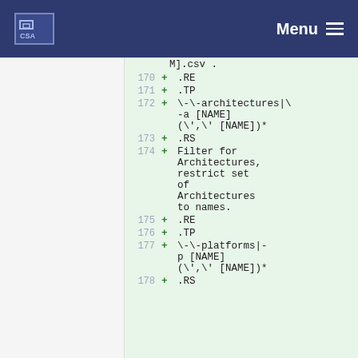CSA Menu
MJ.csv .
170 + .RE
171 + .TP
172 + \-\-architectures|\
-a [NAME]
(\',\' [NAME])*
173 + .RS
174 + Filter for Architectures, restrict set of Architectures to names.
175 + .RE
176 + .TP
177 + \-\-platforms|-p [NAME]
(\',\' [NAME])*
178 + .RS